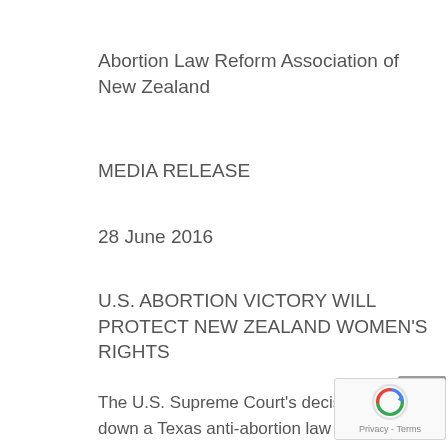Abortion Law Reform Association of New Zealand
MEDIA RELEASE
28 June 2016
U.S. ABORTION VICTORY WILL PROTECT NEW ZEALAND WOMEN'S RIGHTS
The U.S. Supreme Court's decision to strike down a Texas anti-abortion law should stop activists in New Zealand trying to cut abortion access on spurious health grounds, the Abortion Law Reform Association of New Zealand says.